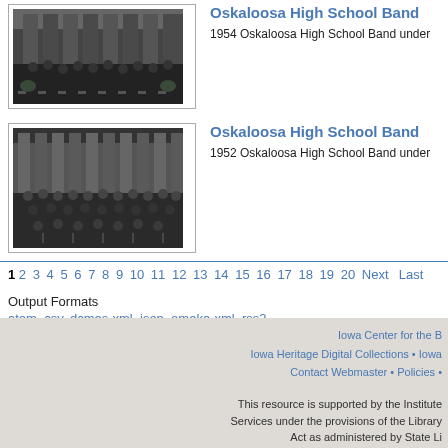[Figure (photo): Black and white photograph of the 1954 Oskaloosa High School Band on stage]
Oskaloosa High School Band
1954 Oskaloosa High School Band under
[Figure (photo): Black and white photograph of the 1952 Oskaloosa High School Band on stage]
Oskaloosa High School Band
1952 Oskaloosa High School Band under
1 2 3 4 5 6 7 8 9 10 11 12 13 14 15 16 17 18 19 20 Next Last
Output Formats
atom, csv, dcmes-xml, json, omeka-xml, rss2
Iowa Center for the B Iowa Heritage Digital Collections • Iowa Contact Webmaster • Policies • This resource is supported by the Institute Services under the provisions of the Library Act as administered by State Li